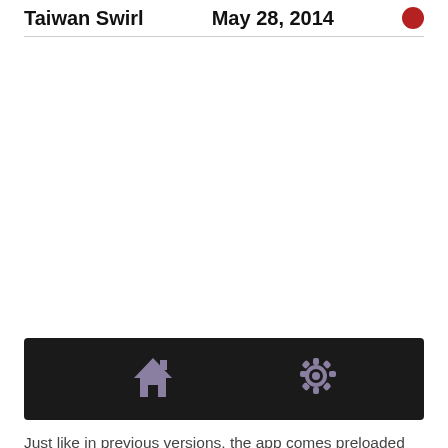Taiwan Swirl  May 28, 2014
[Figure (screenshot): Mobile app navigation bar with home icon on the left and settings gear icon on the right, on a dark/black background]
Just like in previous versions, the app comes preloaded with 6 soaping recipes (3 solid and 3 liquid)